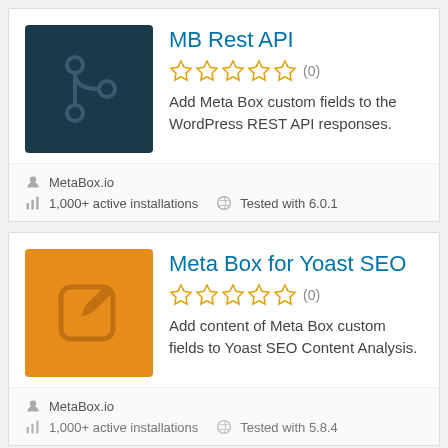MB Rest API
☆☆☆☆☆ (0)
Add Meta Box custom fields to the WordPress REST API responses.
MetaBox.io
1,000+ active installations   Tested with 6.0.1
Meta Box for Yoast SEO
☆☆☆☆☆ (0)
Add content of Meta Box custom fields to Yoast SEO Content Analysis.
MetaBox.io
1,000+ active installations   Tested with 5.8.4